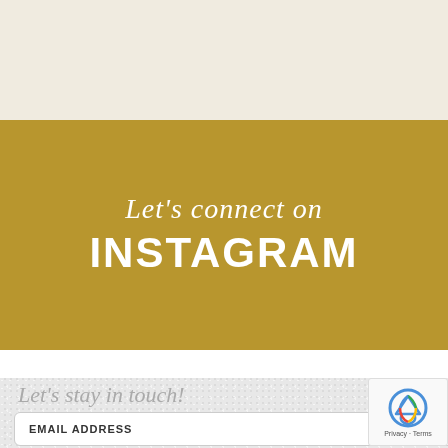[Figure (other): Cream/beige colored band at top of page]
Let's connect on INSTAGRAM
Let's stay in touch!
EMAIL ADDRESS
[Figure (other): reCAPTCHA badge with logo and Privacy/Terms text]